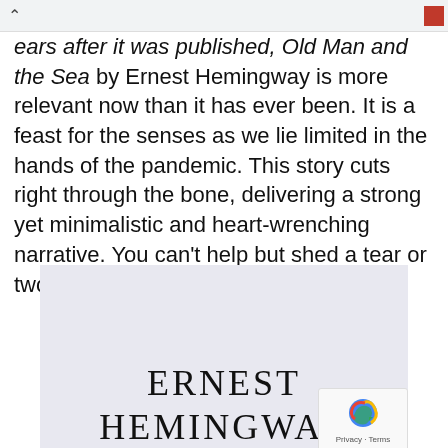ears after it was published, Old Man and the Sea by Ernest Hemingway is more relevant now than it has ever been. It is a feast for the senses as we lie limited in the hands of the pandemic. This story cuts right through the bone, delivering a strong yet minimalistic and heart-wrenching narrative. You can't help but shed a tear or two.
[Figure (illustration): Book cover of The Old Man and the Sea by Ernest Hemingway showing a light lavender/gray background with the author's name 'ERNEST HEMINGWAY' in large serif letters]